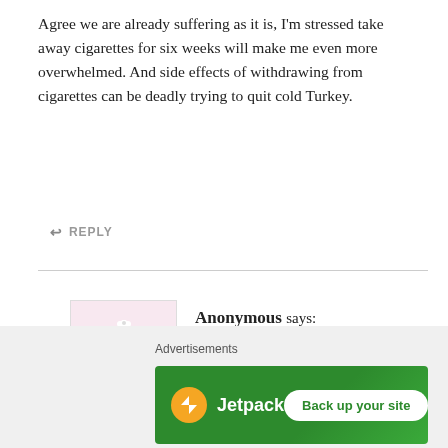Agree we are already suffering as it is, I'm stressed take away cigarettes for six weeks will make me even more overwhelmed. And side effects of withdrawing from cigarettes can be deadly trying to quit cold Turkey.
↩ REPLY
[Figure (illustration): Avatar image of a cartoon character resembling a brown monster/creature with green legs and a white flower on its head, on a light pink background.]
Anonymous says:
MARCH 28, 2020 AT 2:59 PM
False
↩ REPLY
Advertisements
[Figure (other): Jetpack advertisement banner with green background showing Jetpack logo and 'Back up your site' button.]